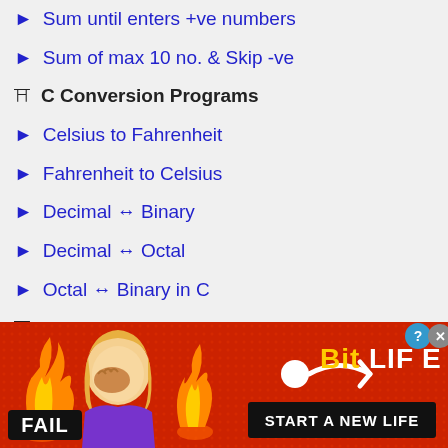Sum until enters +ve numbers
Sum of max 10 no. & Skip -ve
C Conversion Programs
Celsius to Fahrenheit
Fahrenheit to Celsius
Decimal ↔ Binary
Decimal ↔ Octal
Octal ↔ Binary in C
Number Programs in C
Prime Number in C
Strong Number in C
Krishnamurthy Number
Neon Number in C
[Figure (illustration): BitLife advertisement banner with flames, cartoon character, FAIL badge, and START A NEW LIFE text]